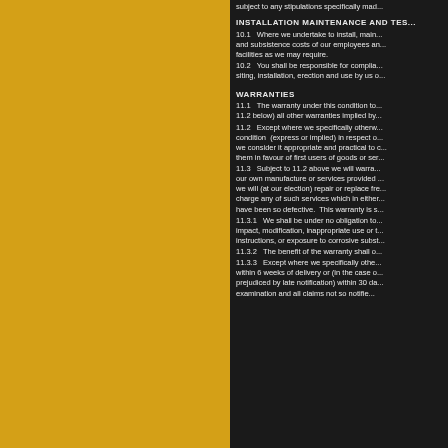[Figure (other): Yellow decorative panel on the left side of the page]
subject to any stipulations specifically mad...
INSTALLATION MAINTENANCE AND TES...
10.1 Where we undertake to install, main... and subsistence costs of our employees an... facilities as we may require.
10.2 You shall be responsible for complia... siting, installation, erection and use by us o...
WARRANTIES
11.1 The warranty under this condition to... 11.2 below) all other warranties implied by...
11.2 Except where we specifically otherw... condition (express or implied) in respect o... we consider it appropriate and practical to... them in favour of first users of goods or ser...
11.3 Subject to 11.2 above we will warra... our own manufacture or services provided... we will (at our election) repair or replace fr... charge any of such services which in either... have been so defective. This warranty is s...
11.3.1 We shall be under no obligation to... impact, modification, inappropriate use or t... instructions, or exposure to corrosive subst...
11.3.2 The benefit of the warranty shall o...
11.3.3 Except where we specifically othe... within 6 weeks of delivery or (in the case o... prejudiced by late notification) within 30 da... examination and all claims not so notifie...